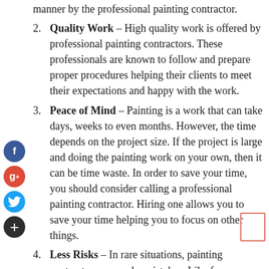continuation: manner by the professional painting contractor.
2. Quality Work – High quality work is offered by professional painting contractors. These professionals are known to follow and prepare proper procedures helping their clients to meet their expectations and happy with the work.
3. Peace of Mind – Painting is a work that can take days, weeks to even months. However, the time depends on the project size. If the project is large and doing the painting work on your own, then it can be time waste. In order to save your time, you should consider calling a professional painting contractor. Hiring one allows you to save your time helping you to focus on other things.
4. Less Risks – In rare situations, painting contractors can make mistakes. Like for instance; an item inside or outside your home may be broken or damaged by the contractor. If this happens, the contractor will contact his insurance company to